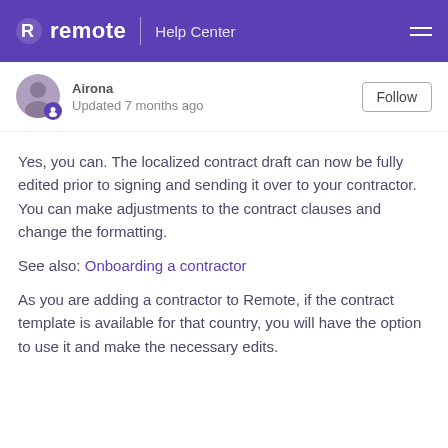remote | Help Center
Airona
Updated 7 months ago
Yes, you can. The localized contract draft can now be fully edited prior to signing and sending it over to your contractor. You can make adjustments to the contract clauses and change the formatting.
See also: Onboarding a contractor
As you are adding a contractor to Remote, if the contract template is available for that country, you will have the option to use it and make the necessary edits.